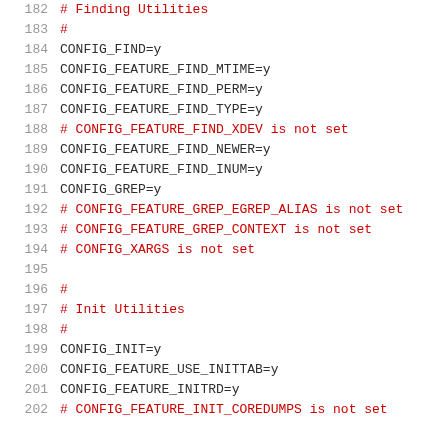182  # Finding Utilities
183  #
184  CONFIG_FIND=y
185  CONFIG_FEATURE_FIND_MTIME=y
186  CONFIG_FEATURE_FIND_PERM=y
187  CONFIG_FEATURE_FIND_TYPE=y
188  # CONFIG_FEATURE_FIND_XDEV is not set
189  CONFIG_FEATURE_FIND_NEWER=y
190  CONFIG_FEATURE_FIND_INUM=y
191  CONFIG_GREP=y
192  # CONFIG_FEATURE_GREP_EGREP_ALIAS is not set
193  # CONFIG_FEATURE_GREP_CONTEXT is not set
194  # CONFIG_XARGS is not set
195
196  #
197  # Init Utilities
198  #
199  CONFIG_INIT=y
200  CONFIG_FEATURE_USE_INITTAB=y
201  CONFIG_FEATURE_INITRD=y
202  # CONFIG_FEATURE_INIT_COREDUMPS is not set